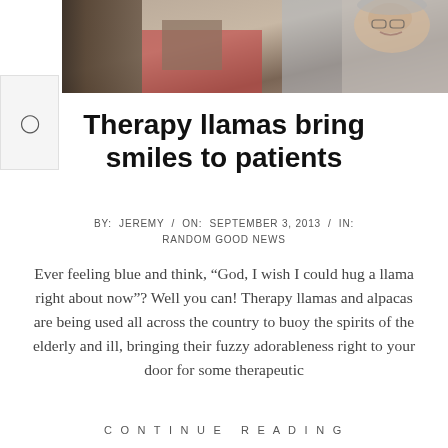[Figure (photo): Photo of an elderly woman smiling while interacting with a therapy llama, with a handler in red visible in the background.]
Therapy llamas bring smiles to patients
BY: JEREMY / ON: SEPTEMBER 3, 2013 / IN: RANDOM GOOD NEWS
Ever feeling blue and think, “God, I wish I could hug a llama right about now”? Well you can! Therapy llamas and alpacas are being used all across the country to buoy the spirits of the elderly and ill, bringing their fuzzy adorableness right to your door for some therapeutic
CONTINUE READING